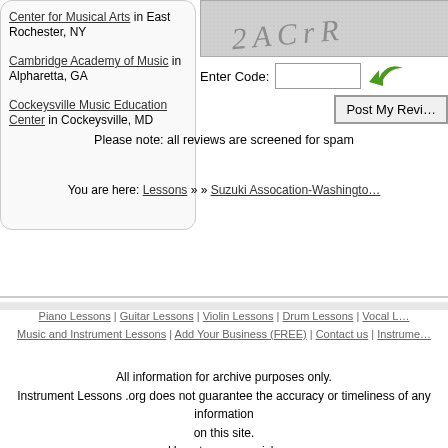Center for Musical Arts in East Rochester, NY
Cambridge Academy of Music in Alpharetta, GA
Cockeysville Music Education Center in Cockeysville, MD
[Figure (other): CAPTCHA image with distorted text]
Enter Code:
Post My Review
Please note: all reviews are screened for spam
You are here: Lessons » » Suzuki Assocation-Washington
Piano Lessons | Guitar Lessons | Violin Lessons | Drum Lessons | Vocal L...
Music and Instrument Lessons | Add Your Business (FREE) | Contact us | Instrume...
All information for archive purposes only. Instrument Lessons .org does not guarantee the accuracy or timeliness of any information on this site. Use at your own risk.